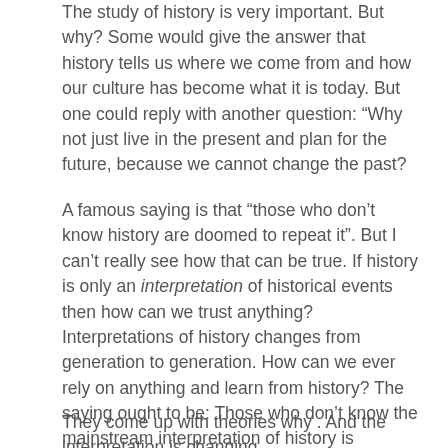The study of history is very important. But why? Some would give the answer that history tells us where we come from and how our culture has become what it is today. But one could reply with another question: “Why not just live in the present and plan for the future, because we cannot change the past?
A famous saying is that “those who don’t know history are doomed to repeat it”. But I can’t really see how that can be true. If history is only an interpretation of historical events then how can we trust anything? Interpretations of history changes from generation to generation. How can we ever rely on anything and learn from history? The saying ought to be: Those who don’t know the mainstream interpretation of history is doomed to believe historians who are manipulating.
They come up with theories why . And the interpretation is changing